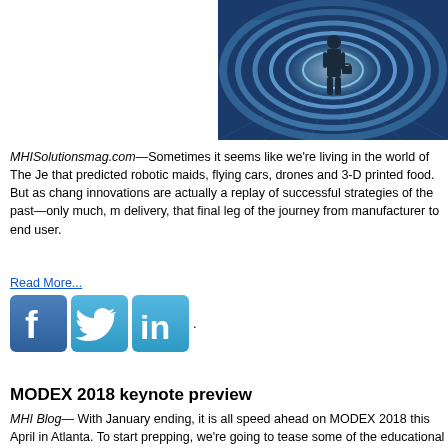[Figure (photo): A silhouette of a person with a briefcase standing in a futuristic blue glowing tunnel corridor]
MHISolutionsmag.com—Sometimes it seems like we're living in the world of The Je... that predicted robotic maids, flying cars, drones and 3-D printed food. But as chang... innovations are actually a replay of successful strategies of the past—only much, m... delivery, that final leg of the journey from manufacturer to end user.
Read More...
[Figure (illustration): Social media share buttons: Facebook, Twitter, LinkedIn]
MODEX 2018 keynote preview
MHI Blog— With January ending, it is all speed ahead on MODEX 2018 this April in Atlanta. To start prepping, we're going to tease some of the educational things that be happening at MODEX 2018. First? A look at the Keynotes...
Read More...
[Figure (illustration): Social media share buttons: Facebook, Twitter, LinkedIn]
ELFA announces top 10 equipment acquisition trends for ...
Modern Materials Handling—The Equipment Leasing and Finance Association (EL...